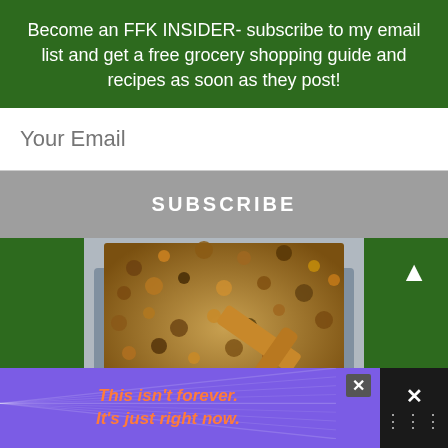Become an FFK INSIDER- subscribe to my email list and get a free grocery shopping guide and recipes as soon as they post!
Your Email
SUBSCRIBE
[Figure (photo): Photo of granola or crumbled food mixture on a baking tray with a wooden spatula]
Print
Refined Sugar Free
This isn't forever. It's just right now.